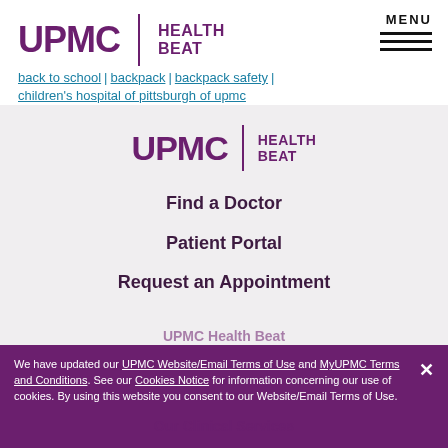UPMC | HEALTH BEAT
back to school | backpack | backpack safety | children's hospital of pittsburgh of upmc
[Figure (logo): UPMC Health Beat logo centered on gray background]
Find a Doctor
Patient Portal
Request an Appointment
We have updated our UPMC Website/Email Terms of Use and MyUPMC Terms and Conditions. See our Cookies Notice for information concerning our use of cookies. By using this website you consent to our Website/Email Terms of Use.